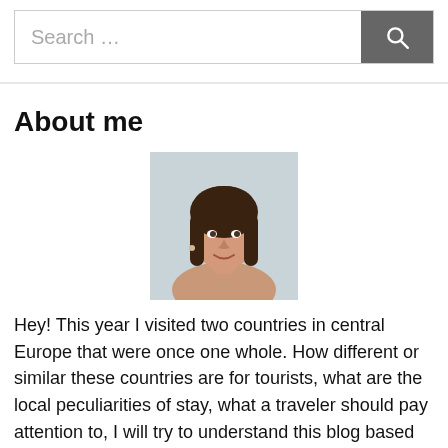Search …
About me
[Figure (photo): Portrait photo of a woman with long brown hair, smiling, against a light grey background.]
Hey! This year I visited two countries in central Europe that were once one whole. How different or similar these countries are for tourists, what are the local peculiarities of stay, what a traveler should pay attention to, I will try to understand this blog based on